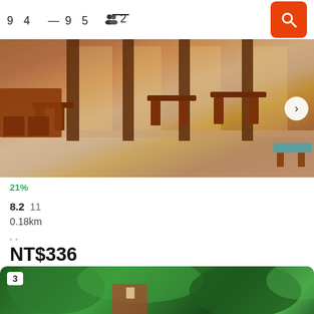94–95  guests: 2
[Figure (photo): Interior of a restaurant/hotel dining area with dark wooden tables and chairs, open windows, warm lighting, and a buffet counter on the left]
21%
8.2   11
0.18km
NT$336
[Figure (photo): Exterior view of a hotel or building surrounded by lush green trees, with number badge '3' visible]